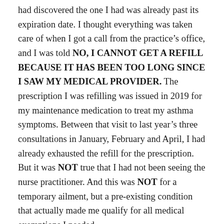had discovered the one I had was already past its expiration date. I thought everything was taken care of when I got a call from the practice's office, and I was told NO, I CANNOT GET A REFILL BECAUSE IT HAS BEEN TOO LONG SINCE I SAW MY MEDICAL PROVIDER. The prescription I was refilling was issued in 2019 for my maintenance medication to treat my asthma symptoms. Between that visit to last year's three consultations in January, February and April, I had already exhausted the refill for the prescription. But it was NOT true that I had not been seeing the nurse practitioner. And this was NOT for a temporary ailment, but a pre-existing condition that actually made me qualify for all medical exemptions I needed.